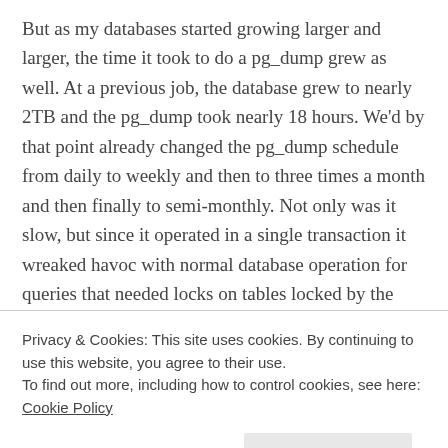But as my databases started growing larger and larger, the time it took to do a pg_dump grew as well. At a previous job, the database grew to nearly 2TB and the pg_dump took nearly 18 hours. We'd by that point already changed the pg_dump schedule from daily to weekly and then to three times a month and then finally to semi-monthly. Not only was it slow, but since it operated in a single transaction it wreaked havoc with normal database operation for queries that needed locks on tables locked by the dump.
When we moved the database from a physical RAID to a
Privacy & Cookies: This site uses cookies. By continuing to use this website, you agree to their use.
To find out more, including how to control cookies, see here: Cookie Policy
Close and accept
This was ideal on Competent since the snapshots would